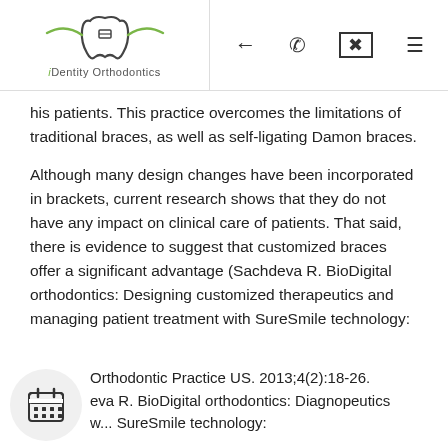iDentity Orthodontics
his patients. This practice overcomes the limitations of traditional braces, as well as self-ligating Damon braces.
Although many design changes have been incorporated in brackets, current research shows that they do not have any impact on clinical care of patients. That said, there is evidence to suggest that customized braces offer a significant advantage (Sachdeva R. BioDigital orthodontics: Designing customized therapeutics and managing patient treatment with SureSmile technology:
Orthodontic Practice US. 2013;4(2):18-26.
eva R. BioDigital orthodontics: Diagnopeutics w... SureSmile technology: